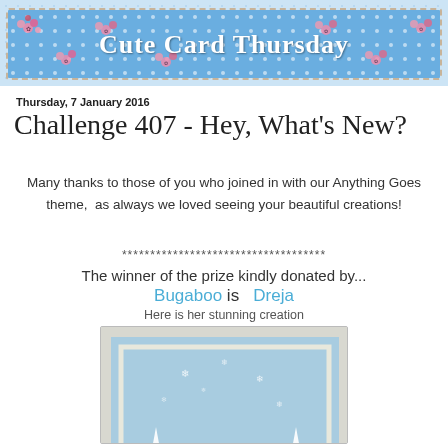[Figure (illustration): Cute Card Thursday banner with blue polka dot background, pink floral decorations, and white serif title text reading 'Cute Card Thursday']
Thursday, 7 January 2016
Challenge 407 - Hey, What's New?
Many thanks to those of you who joined in with our Anything Goes theme,  as always we loved seeing your beautiful creations!
************************************
The winner of the prize kindly donated by...
Bugaboo is    Dreja
Here is her stunning creation
[Figure (illustration): A winter-themed handmade greeting card featuring two cartoon hedgehog or animal characters wearing colorful hats, surrounded by white snow-covered trees and snowflakes on a blue background, with a light grey border]